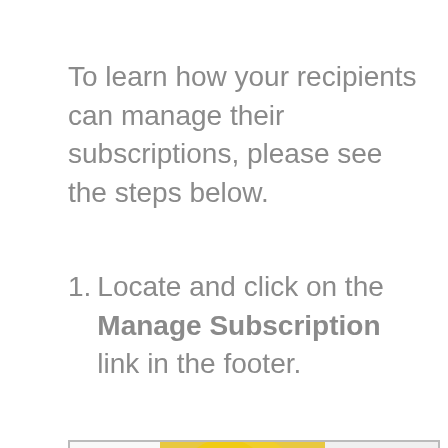To learn how your recipients can manage their subscriptions, please see the steps below.
1. Locate and click on the Manage Subscription link in the footer.
[Figure (screenshot): Screenshot of an email newsletter interface showing food images including a lemon, a dark tea/berry drink in a cup, a cream soup in a white bowl, a white container labeled 'Bakery', and a pink footer bar with user 'Mike Strong' and thumbnail of macarons. A 'Read More' link and a chat bubble icon are visible.]